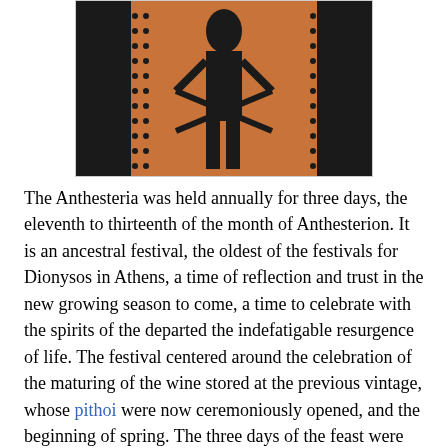[Figure (photo): Ancient Greek red-figure pottery showing black silhouette figures on an orange/terracotta background, depicting a classical scene, partially cropped at top]
The Anthesteria was held annually for three days, the eleventh to thirteenth of the month of Anthesterion. It is an ancestral festival, the oldest of the festivals for Dionysos in Athens, a time of reflection and trust in the new growing season to come, a time to celebrate with the spirits of the departed the indefatigable resurgence of life. The festival centered around the celebration of the maturing of the wine stored at the previous vintage, whose pithoi were now ceremoniously opened, and the beginning of spring. The three days of the feast were called Pithoigia (after πίθοι 'storage jars'), Khoes (χοαί 'libations') and Khytroi (χύτροι 'pots').
On the first day, the pithoi were brought to the city of Athens and opened in the temple of Dionysos. Everyone from age three and up wore garlands of new flowers, and many were present when the pithoi of new wine were opened, and a libations was offered to